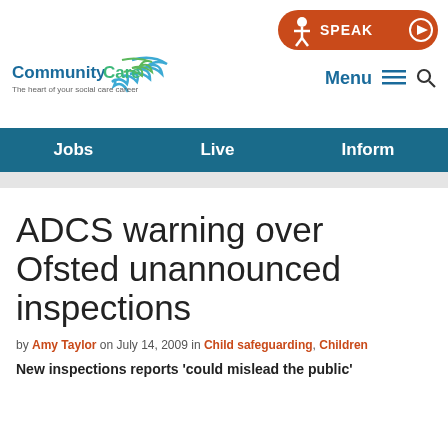[Figure (logo): SPEAK button - orange rounded rectangle with person icon and play button]
[Figure (logo): CommunityCare logo with tagline 'The heart of your social care career']
Menu | Search
Jobs  Live  Inform
ADCS warning over Ofsted unannounced inspections
by Amy Taylor on July 14, 2009 in Child safeguarding, Children
New inspections reports ‘could mislead the public’